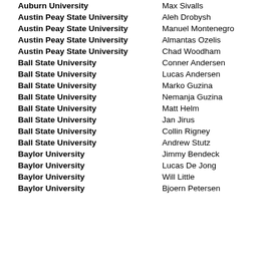| University | Name |
| --- | --- |
| Auburn University | Max Sivalls |
| Austin Peay State University | Aleh Drobysh |
| Austin Peay State University | Manuel Montenegro |
| Austin Peay State University | Almantas Ozelis |
| Austin Peay State University | Chad Woodham |
| Ball State University | Conner Andersen |
| Ball State University | Lucas Andersen |
| Ball State University | Marko Guzina |
| Ball State University | Nemanja Guzina |
| Ball State University | Matt Helm |
| Ball State University | Jan Jirus |
| Ball State University | Collin Rigney |
| Ball State University | Andrew Stutz |
| Baylor University | Jimmy Bendeck |
| Baylor University | Lucas De Jong |
| Baylor University | Will Little |
| Baylor University | Bjoern Petersen |